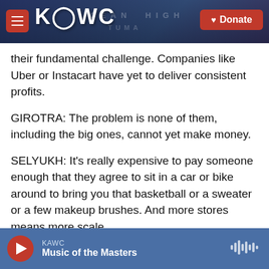KAWC — Donate
their fundamental challenge. Companies like Uber or Instacart have yet to deliver consistent profits.
GIROTRA: The problem is none of them, including the big ones, cannot yet make money.
SELYUKH: It's really expensive to pay someone enough that they agree to sit in a car or bike around to bring you that basketball or a sweater or a few makeup brushes. And more stores means more scale.
GIROTRA: The more you deliver, the cheaper each
KAWC — Music of the Masters